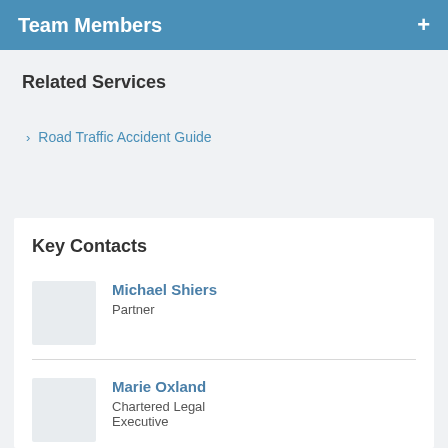Team Members
Related Services
Road Traffic Accident Guide
Key Contacts
Michael Shiers
Partner
Marie Oxland
Chartered Legal Executive